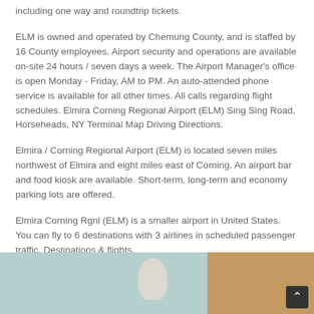including one way and roundtrip tickets.
ELM is owned and operated by Chemung County, and is staffed by 16 County employees. Airport security and operations are available on-site 24 hours / seven days a week. The Airport Manager's office is open Monday - Friday, AM to PM. An auto-attended phone service is available for all other times. All calls regarding flight schedules. Elmira Corning Regional Airport (ELM) Sing Sing Road, Horseheads, NY Terminal Map Driving Directions.
Elmira / Corning Regional Airport (ELM) is located seven miles northwest of Elmira and eight miles east of Corning. An airport bar and food kiosk are available. Short-term, long-term and economy parking lots are offered.
Elmira Corning Rgnl (ELM) is a smaller airport in United States. You can fly to 6 destinations with 3 airlines in scheduled passenger traffic. Destinations & flights.
[Figure (photo): Partial photo showing a person, partially cropped at bottom of page, with a light blue/teal background on the left and wooden/brown surface on the right.]